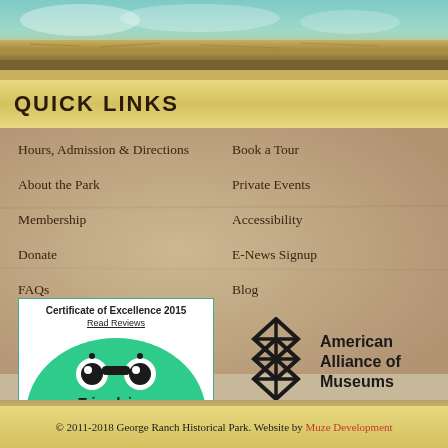[Figure (photo): Top decorative banner with landscape/nature scene — teal sky, sandy earth tones]
QUICK LINKS
Hours, Admission & Directions
About the Park
Membership
Donate
FAQs
Book a Tour
Private Events
Accessibility
E-News Signup
Blog
[Figure (logo): TripAdvisor Certificate of Excellence 2015 badge with green semicircle and owl icon. Text: Certificate of Excellence 2015, Read Reviews, Tripadvisor]
[Figure (logo): American Alliance of Museums logo with geometric diamond/lattice pattern and text: American Alliance of Museums]
© 2011-2018 George Ranch Historical Park. Website by Muze Development